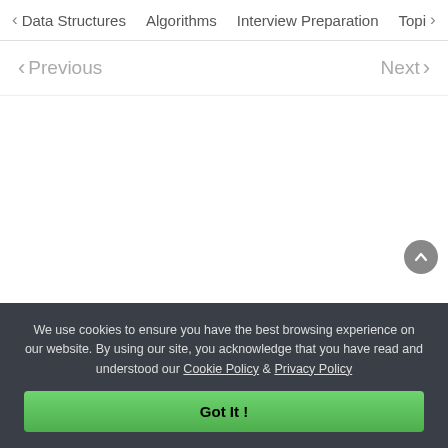< Data Structures   Algorithms   Interview Preparation   Topi>
< Previous   Next >
We use cookies to ensure you have the best browsing experience on our website. By using our site, you acknowledge that you have read and understood our Cookie Policy & Privacy Policy
Got It !